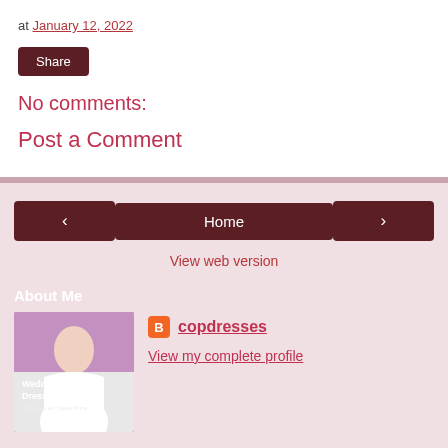at January 12, 2022
Share
No comments:
Post a Comment
< Home >
View web version
About Me
copdresses
View my complete profile
Powered by Blogger.